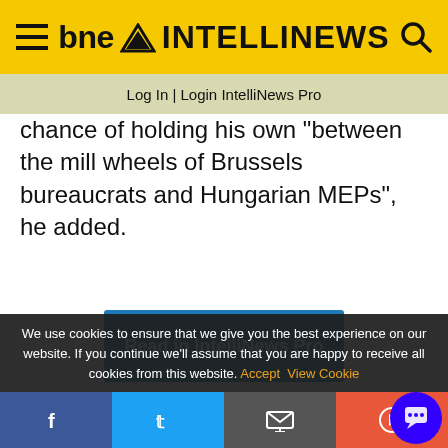bne INTELLINEWS
Log In | Login IntelliNews Pro
chance of holding his own "between the mill wheels of Brussels bureaucrats and Hungarian MEPs", he added.
Read in IntelliNews Pro
Get IntelliNews Pro
We use cookies to ensure that we give you the best experience on our website. If you continue we'll assume that you are happy to receive all cookies from this website. Accept View Cookie
Social share bar: Facebook, Twitter, Email, RSS